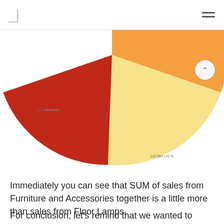[Figure (pie-chart): Sales by Category]
Immediately you can see that SUM of sales from Furniture and Accessories together is a little more than sales from Floor Lamps.
For conclusion, let's remind that we wanted to